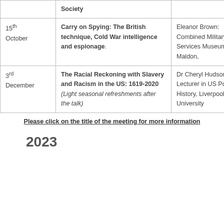| Date | Title | Speaker |  |
| --- | --- | --- | --- |
|  | Society |  |  |
| 15th October | Carry on Spying: The British technique, Cold War intelligence and espionage. | Eleanor Brown: Combined Military Services Museum. Maldon, |  |
| 3rd December | The Racial Reckoning with Slavery and Racism in the US: 1619-2020
(Light seasonal refreshments after the talk) | Dr Cheryl Hudson. Lecturer in US Political History, Liverpool University |  |
Please click on the title of the meeting for more information
2023